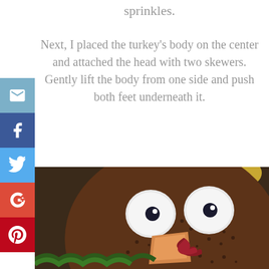sprinkles.
Next, I placed the turkey's body on the center and attached the head with two skewers. Gently lift the body from one side and push both feet underneath it.
[Figure (photo): Close-up photo of a turkey-shaped cake decorated with chocolate sprinkles for feathers, large white round candy eyes with dark pupils, an orange triangular beak, and red ruffled frosting for the wattle. Yellow candy decorations visible at the top edges.]